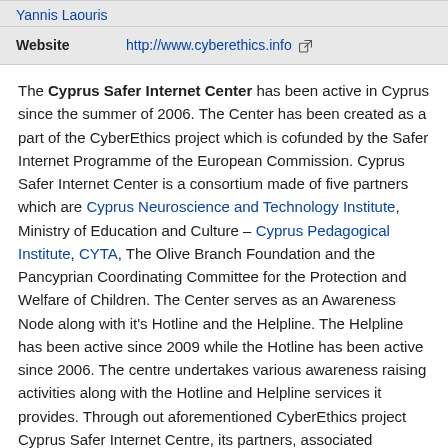|  |  |
| --- | --- |
| Website | http://www.cyberethics.info |
The Cyprus Safer Internet Center has been active in Cyprus since the summer of 2006. The Center has been created as a part of the CyberEthics project which is cofunded by the Safer Internet Programme of the European Commission. Cyprus Safer Internet Center is a consortium made of five partners which are Cyprus Neuroscience and Technology Institute, Ministry of Education and Culture – Cyprus Pedagogical Institute, CYTA, The Olive Branch Foundation and the Pancyprian Coordinating Committee for the Protection and Welfare of Children. The Center serves as an Awareness Node along with it's Hotline and the Helpline. The Helpline has been active since 2009 while the Hotline has been active since 2006. The centre undertakes various awareness raising activities along with the Hotline and Helpline services it provides. Through out aforementioned CyberEthics project Cyprus Safer Internet Centre, its partners, associated